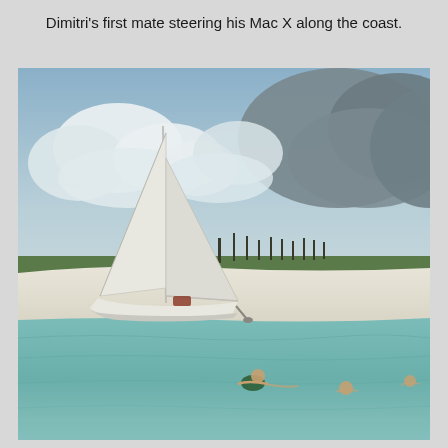Dimitri's first mate steering his Mac X along the coast.
[Figure (photo): A white sailboat anchored near a white sandy beach with turquoise/teal shallow water in the foreground. Several people are swimming or wading in the water. The background shows a stretch of white sand beach with low scrubby vegetation and trees. The sky is partly cloudy with large cumulus clouds.]